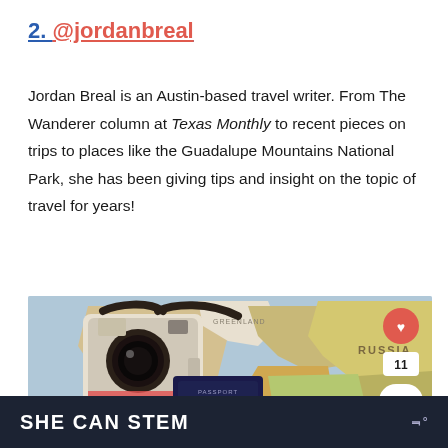2. @jordanbreal
Jordan Breal is an Austin-based travel writer. From The Wanderer column at Texas Monthly to recent pieces on trips to places like the Guadalupe Mountains National Park, she has been giving tips and insight on the topic of travel for years!
[Figure (photo): A vintage camera and a US passport lying on a colorful world map. The Atlantic Ocean label is visible in the lower left. There is a heart button, a share button, and a count of 11 overlaid on the right side of the image.]
SHE CAN STEM